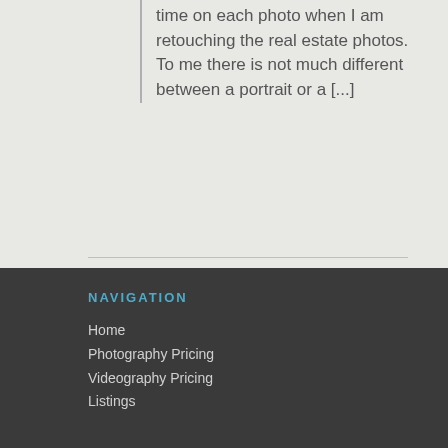time on each photo when I am retouching the real estate photos. To me there is not much different between a portrait or a [...]
NAVIGATION
Home
Photography Pricing
Videography Pricing
Listings